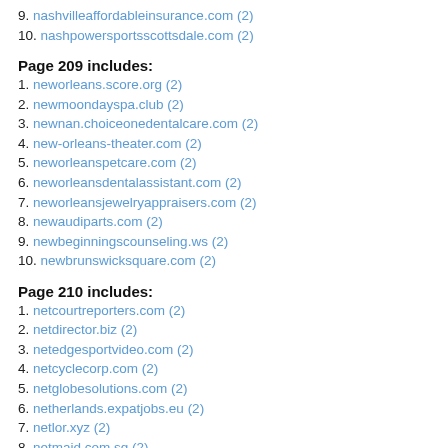9. nashvilleaffordableinsurance.com (2)
10. nashpowersportsscottsdale.com (2)
Page 209 includes:
1. neworleans.score.org (2)
2. newmoondayspa.club (2)
3. newnan.choiceonedentalcare.com (2)
4. new-orleans-theater.com (2)
5. neworleanspetcare.com (2)
6. neworleansdentalassistant.com (2)
7. neworleansjewelryappraisers.com (2)
8. newaudiparts.com (2)
9. newbeginningscounseling.ws (2)
10. newbrunswicksquare.com (2)
Page 210 includes:
1. netcourtreporters.com (2)
2. netdirector.biz (2)
3. netedgesportvideo.com (2)
4. netcyclecorp.com (2)
5. netglobesolutions.com (2)
6. netherlands.expatjobs.eu (2)
7. netlor.xyz (2)
8. netmaid.com.sg (2)
9. netlify.com (2)
10. netsafesolutions.com (2)
Page 211 includes:
1. nectarusa.com (2)
2. necksaviour.com (2)
3. necksupportbrace.com (2)
4. necc.mass.edu (2)
5. novidon-starch.com (2)
6. noviteimoti.com (2)
7. novagel.no (2)